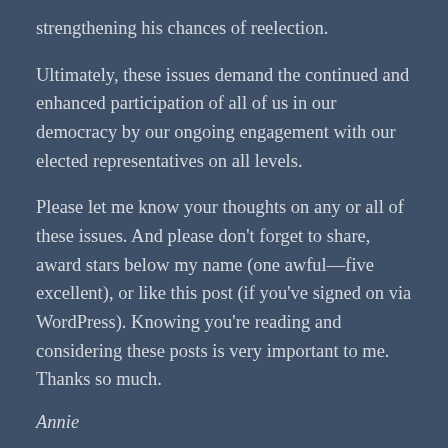strengthening his chances of reelection.
Ultimately, these issues demand the continued and enhanced participation of all of us in our democracy by our ongoing engagement with our elected representatives on all levels.
Please let me know your thoughts on any or all of these issues. And please don’t forget to share, award stars below my name (one awful—five excellent), or like this post (if you’ve signed on via WordPress). Knowing you’re reading and considering these posts is very important to me. Thanks so much.
Annie
6 Votes